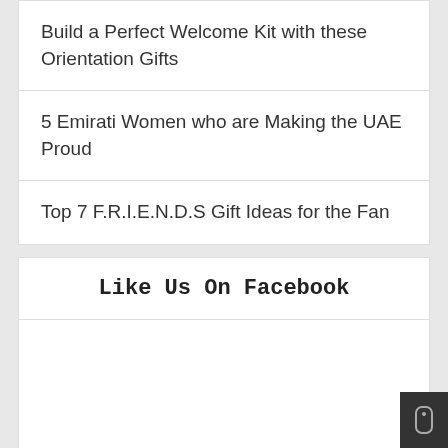Build a Perfect Welcome Kit with these Orientation Gifts
5 Emirati Women who are Making the UAE Proud
Top 7 F.R.I.E.N.D.S Gift Ideas for the Fan
Like Us On Facebook
[Figure (other): Facebook widget embed area, blank/empty content box below the Like Us On Facebook header]